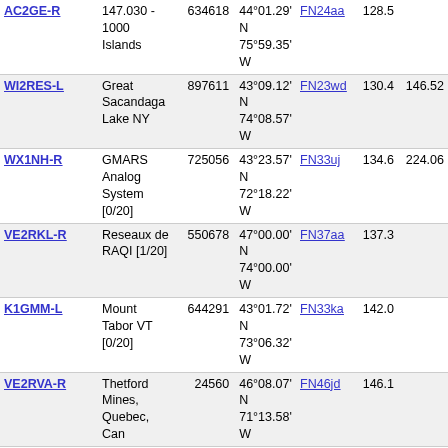| Callsign | Location | ID | Coordinates | Grid | Dist | Extra |
| --- | --- | --- | --- | --- | --- | --- |
| AC2GE-R | 147.030 - 1000 Islands | 634618 | 44°01.29' N 75°59.35' W | FN24aa | 128.5 |  |
| WI2RES-L | Great Sacandaga Lake NY | 897611 | 43°09.12' N 74°08.57' W | FN23wd | 130.4 | 146.52 |
| WX1NH-R | GMARS Analog System [0/20] | 725056 | 43°23.57' N 72°18.22' W | FN33uj | 134.6 | 224.06 |
| VE2RKL-R | Reseaux de RAQI [1/20] | 550678 | 47°00.00' N 74°00.00' W | FN37aa | 137.3 |  |
| K1GMM-L | Mount Tabor VT [0/20] | 644291 | 43°01.72' N 73°06.32' W | FN33ka | 142.0 |  |
| VE2RVA-R | Thetford Mines, Quebec, Can | 24560 | 46°08.07' N 71°13.58' W | FN46jd | 146.1 |  |
| VE2RBJ-R | Donnacona | 905751 | 46°41.14' N 71°43.25' W | FN46dq | 152.4 | 145.33 |
| W1JY-R | Laconia,NH [0/20] | 147390 | 43°31.55' N 71°22.74' W | FN43hm | 158.0 |  |
| WB2KAO-R | Rochester, NY [0/30] | 78007 | 43°10.21' N 75°40.38' W | FN23de | 158.5 |  |
| VE2REA-R | St-Raymond, QC [0/40] | 155300 | 46°51.44' N 71°46.52' W | FN46cu | 159.8 |  |
| KC2IVI-R | East Greenbush, NY | 48899 | 42°36.19' N 73°43.26' W | FN32do | 167.3 | 147.33 |
| N2DOW-L | Kirkville,NY 53.670 [0/20] | 99177 | 43°08.53' N 75°58.62' W | FN23ad | 169.3 |  |
| N2DOW-R | Kirkville,NY 224.120 [0/20] | 324784 | 43°08.53' N 75°58.62' W | FN23ad | 169.3 |  |
| VE2RIG-R | [Svx] | 39339 | 46°44.90' N | FN46ir | 169.6 | 146.85 |